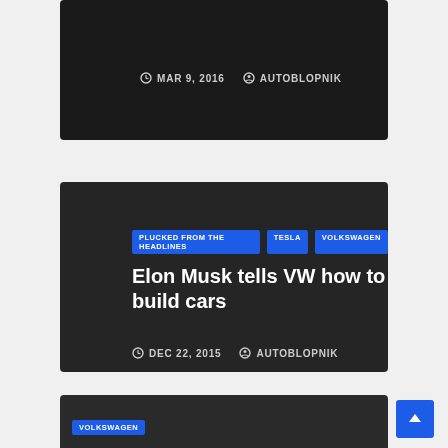[Figure (screenshot): Dark-themed blog card (partial, top): date MAR 9, 2016 and author AUTOBLOPNIK]
MAR 9, 2016   AUTOBLOPNIK
[Figure (screenshot): Dark-themed blog card: tags PLUCKED FROM THE HEADLINES, TESLA, VOLKSWAGEN; title Elon Musk tells VW how to build cars; date DEC 22, 2015 author AUTOBLOPNIK]
PLUCKED FROM THE HEADLINES   TESLA   VOLKSWAGEN
Elon Musk tells VW how to build cars
DEC 22, 2015   AUTOBLOPNIK
[Figure (screenshot): Dark-themed blog card (partial, bottom): tag VOLKSWAGEN; title Volkswagen announces TDI fix]
VOLKSWAGEN
Volkswagen announces TDI fix